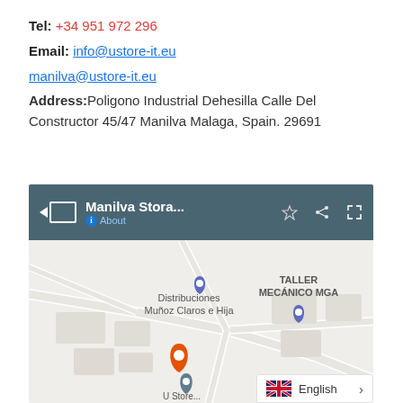Tel: +34 951 972 296
Email: info@ustore-it.eu
manilva@ustore-it.eu
Address: Poligono Industrial Dehesilla Calle Del Constructor 45/47 Manilva Malaga, Spain. 29691
[Figure (screenshot): Google Maps screenshot showing Manilva Storage location with map header panel displaying 'Manilva Stora...' title, About link, star/share/expand icons, and map view with Distribuciones Muñoz Claros e Hija, TALLER MECÁNICO MGA labels, orange and grey location pins, and English language selector overlay.]